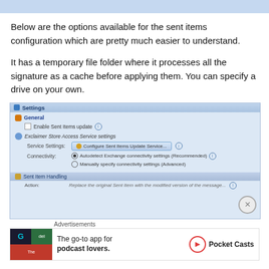[Figure (screenshot): Blue top bar decoration]
Below are the options available for the sent items configuration which are pretty much easier to understand.
It has a temporary file folder where it processes all the signature as a cache before applying them. You can specify a drive on your own.
[Figure (screenshot): Settings window showing General section with Enable Sent Items update checkbox, Exclaimer Store Access Service settings with Service Settings button 'Configure Sent Items Update Service...', Connectivity options with radio buttons for 'Autodetect Exchange connectivity settings (Recommended)' and 'Manually specify connectivity settings (Advanced)', and Sent Item Handling section.]
Advertisements
[Figure (screenshot): Advertisement banner for Pocket Casts: 'The go-to app for podcast lovers.']